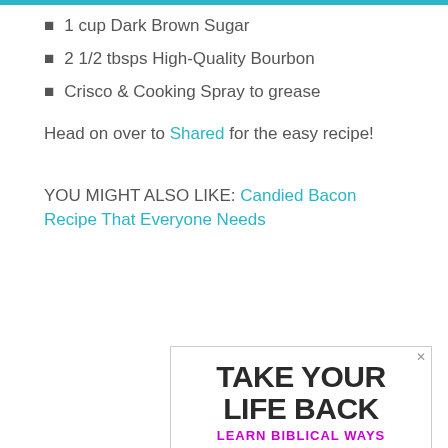1 cup Dark Brown Sugar
2 1/2 tbsps High-Quality Bourbon
Crisco & Cooking Spray to grease
Head on over to Shared for the easy recipe!
YOU MIGHT ALSO LIKE: Candied Bacon Recipe That Everyone Needs
[Figure (other): Advertisement banner reading TAKE YOUR LIFE BACK with subtitle LEARN BIBLICAL WAYS in purple]